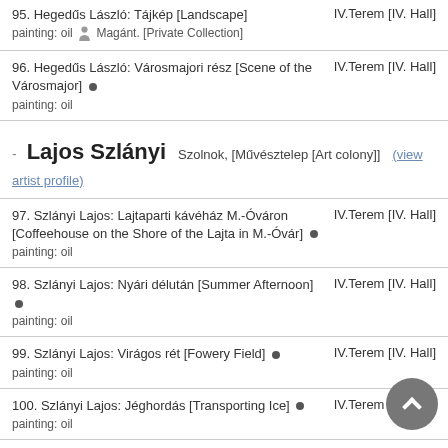95. Hegedűs László: Tájkép [Landscape] IV.Terem [IV. Hall] painting: oil 🧍 Magánt. [Private Collection]
96. Hegedűs László: Városmajori rész [Scene of the Városmajor] • IV.Terem [IV. Hall] painting: oil
- Lajos Szlányi Szolnok, [Művésztelep [Art colony]] (view artist profile)
97. Szlányi Lajos: Lajtaparti kávéház M.-Óváron [Coffeehouse on the Shore of the Lajta in M.-Óvár] • IV.Terem [IV. Hall] painting: oil
98. Szlányi Lajos: Nyári délután [Summer Afternoon] • IV.Terem [IV. Hall] painting: oil
99. Szlányi Lajos: Virágos rét [Fowery Field] • IV.Terem [IV. Hall] painting: oil
100. Szlányi Lajos: Jéghordás [Transporting Ice] • IV.Terem [IV. Hall] painting: oil
101. Szlányi Lajos: Szolnoki templom [Church in Szolnok] • IV.Terem [IV. Hall]